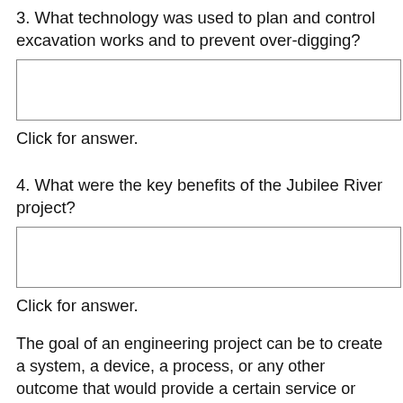3. What technology was used to plan and control excavation works and to prevent over-digging?
|  |
Click for answer.
4. What were the key benefits of the Jubilee River project?
|  |
Click for answer.
The goal of an engineering project can be to create a system, a device, a process, or any other outcome that would provide a certain service or benefit to society. One of the important outcomes of an engineering project is the creation of technology.
Role of Technology